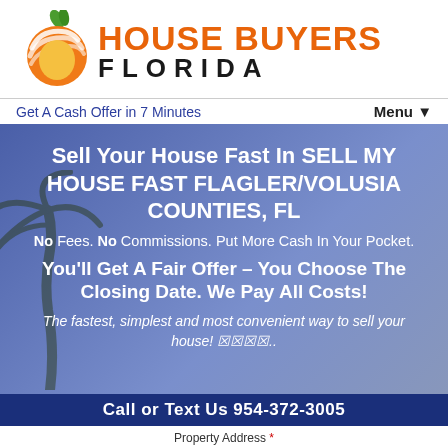[Figure (logo): House Buyers Florida logo with orange and white swirling peach/citrus icon with green leaf, next to bold orange 'HOUSE BUYERS' text and black 'FLORIDA' text below]
Get A Cash Offer in 7 Minutes
Menu ▼
Sell Your House Fast In SELL MY HOUSE FAST FLAGLER/VOLUSIA COUNTIES, FL
No Fees. No Commissions. Put More Cash In Your Pocket.
You'll Get A Fair Offer – You Choose The Closing Date. We Pay All Costs!
The fastest, simplest and most convenient way to sell your house! 🏠🏠🏠🏠..
Call or Text Us 954-372-3005
Property Address *